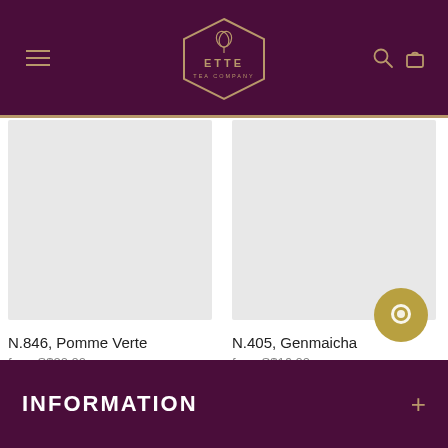[Figure (logo): ETTE Tea Company logo — hexagonal gold outline with a stylized tea leaf icon, text ETTE and TEA COMPANY, on dark purple background]
[Figure (photo): Product image placeholder (light grey square) for N.846, Pomme Verte tea]
N.846, Pomme Verte
from S$20.00
[Figure (photo): Product image placeholder (light grey square) for N.405, Genmaicha tea]
N.405, Genmaicha
from S$16.00
INFORMATION